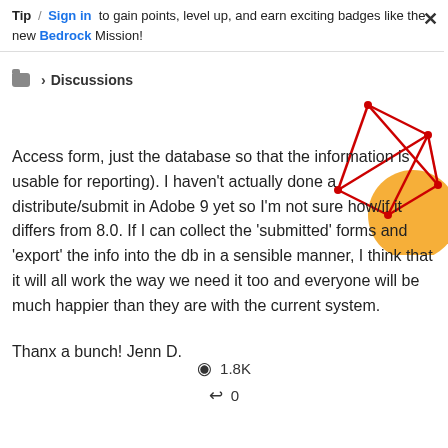Tip / Sign in to gain points, level up, and earn exciting badges like the new Bedrock Mission!
Discussions
[Figure (illustration): Decorative geometric illustration with red lines forming a network/diamond shape and an orange circle in the top-right corner of the page]
Access form, just the database so that the information is usable for reporting). I haven't actually done a distribute/submit in Adobe 9 yet so I'm not sure how/if it differs from 8.0. If I can collect the 'submitted' forms and 'export' the info into the db in a sensible manner, I think that it will all work the way we need it too and everyone will be much happier than they are with the current system.
Thanx a bunch! Jenn D.
1.8K
0